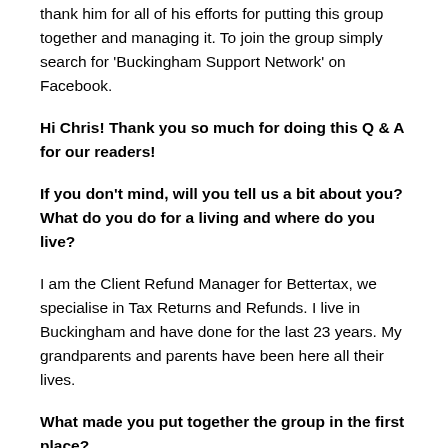thank him for all of his efforts for putting this group together and managing it. To join the group simply search for 'Buckingham Support Network' on Facebook.
Hi Chris! Thank you so much for doing this Q & A for our readers!
If you don't mind, will you tell us a bit about you? What do you do for a living and where do you live?
I am the Client Refund Manager for Bettertax, we specialise in Tax Returns and Refunds. I live in Buckingham and have done for the last 23 years. My grandparents and parents have been here all their lives.
What made you put together the group in the first place?